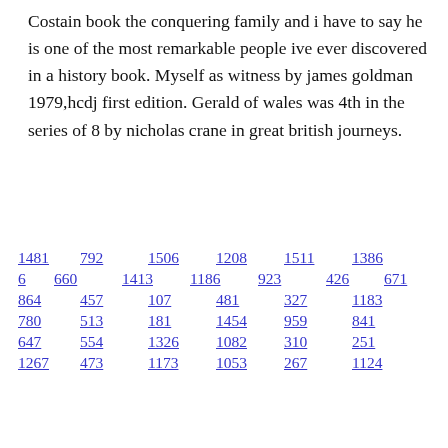Costain book the conquering family and i have to say he is one of the most remarkable people ive ever discovered in a history book. Myself as witness by james goldman 1979,hcdj first edition. Gerald of wales was 4th in the series of 8 by nicholas crane in great british journeys.
1481 792 1506 1208 1511 1386 6 660 1413 1186 923 426 671 864 457 107 481 327 1183 780 513 181 1454 959 841 647 554 1326 1082 310 251 1267 473 1173 1053 267 1124